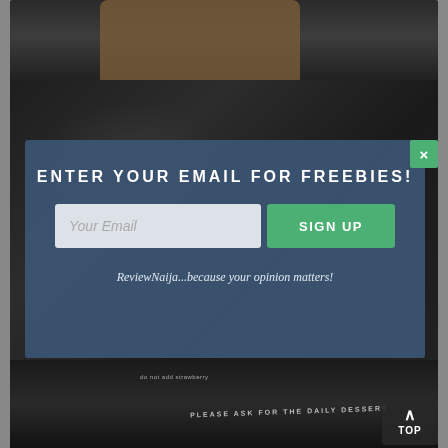[Figure (photo): Dark textured restaurant menu book being held, with a hand visible at top. The menu shows text 'PLEASE ASK FOR THE DAILY DESSERT' near the bottom.]
[Figure (screenshot): Email signup modal popup overlay with dark blue-gray background. Contains title 'ENTER YOUR EMAIL FOR FREEBIES!', an email input field with placeholder 'Your Email', a green 'SIGN UP' button, and tagline 'ReviewNaija...because your opinion matters!']
ENTER YOUR EMAIL FOR FREEBIES!
Your Email
SIGN UP
ReviewNaija...because your opinion matters!
PLEASE ASK FOR THE DAILY DESSERT
TOP